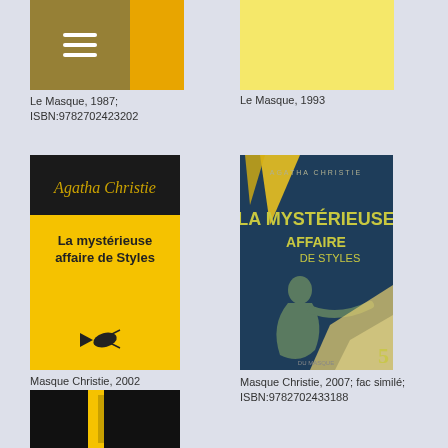[Figure (photo): Partial yellow book cover with menu icon overlay, top cropped]
Le Masque, 1987; ISBN:9782702423202
[Figure (photo): Partial light yellow book cover, top cropped]
Le Masque, 1993
[Figure (photo): Book cover: Agatha Christie - La mystérieuse affaire de Styles, yellow cover with script author name and black top band, Masque Christie 2002]
Masque Christie, 2002
[Figure (photo): Book cover: La Mysterieuse Affaire de Styles, dark blue/teal art deco style with woman figure, Masque Christie 2007 fac similé]
Masque Christie, 2007; fac similé; ISBN:9782702433188
[Figure (photo): Partial black book cover with yellow vertical stripe, bottom shown]